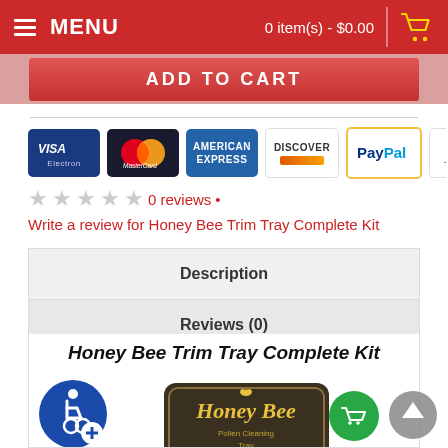MENU  0 item(s) - $0.00
[Figure (screenshot): ADD TO CART button in red]
[Figure (infographic): Payment method icons: Visa Electron, MasterCard, American Express, Discover, PayPal, Wire Transfer, and one partially visible card]
0 reviews • Write a review for Honey Bee Trim Tray Complete Kit
Description
Reviews (0)
Honey Bee Trim Tray Complete Kit
[Figure (logo): Honey Bee Pollen Cleaning Tray logo — dark badge shape with yellow text]
[Figure (illustration): Accessibility icon (wheelchair user with plus sign) in blue circle]